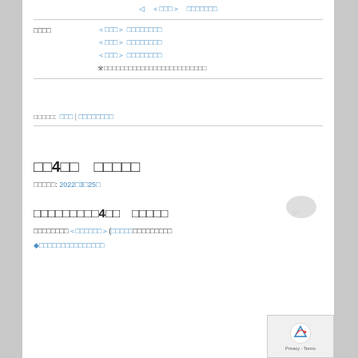◁　＜□□□＞　□□□□□□□
□□□□　＜□□□＞　□□□□□□□□
＜□□□＞　□□□□□□□□
＜□□□＞　□□□□□□□□
※□□□□□□□□□□□□□□□□□□□□□□□□□
□□□□□: □□□ | □□□□□□□□
□□4□□　□□□□□
□□□□□: 2022□3□25□
□□□□□□□□□4□□　□□□□□
□□□□□□□□＜□□□□□□＞(□□□□□□□□□□□□□□□
◆□□□□□□□□□□□□□□□